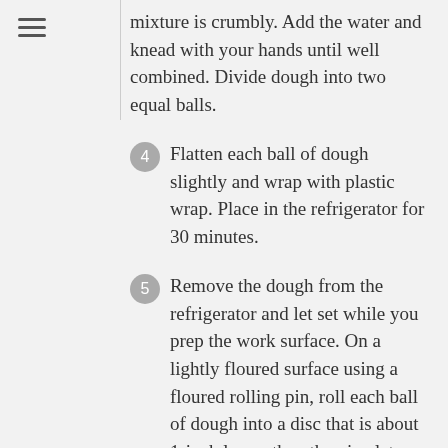mixture is crumbly. Add the water and knead with your hands until well combined. Divide dough into two equal balls.
4 Flatten each ball of dough slightly and wrap with plastic wrap. Place in the refrigerator for 30 minutes.
5 Remove the dough from the refrigerator and let set while you prep the work surface. On a lightly floured surface using a floured rolling pin, roll each ball of dough into a disc that is about 1-inch larger than the pie plates. Check for size by inverting the pie plate over the rolled out disc of dough to measure for a 1-inch edge surrounding